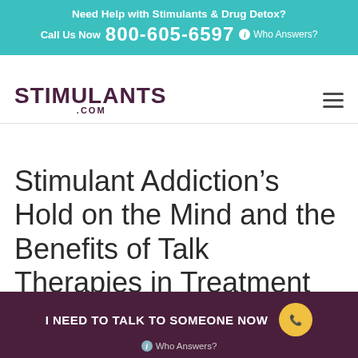Need Help with Stimulants & Drug Detox? Call Us Now 800-605-6597 i Who Answers?
[Figure (logo): STIMULANTS.COM logo with hamburger menu icon]
Stimulant Addiction’s Hold on the Mind and the Benefits of Talk Therapies in Treatment
I NEED TO TALK TO SOMEONE NOW i Who Answers?